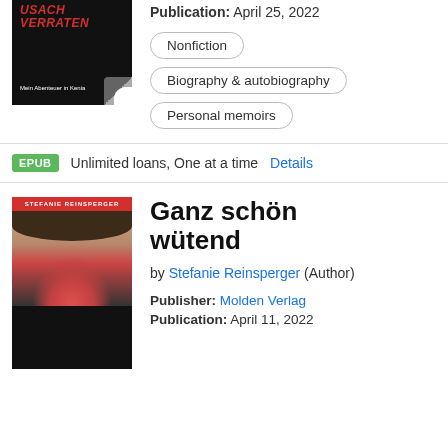[Figure (illustration): Book cover for a dark thriller, partially cut off at top, showing red text on black background with title 'Verraten' and subtitle 'Mein Abenteuer in Kenia']
Publication: April 25, 2022
Nonfiction
Biography & autobiography
Personal memoirs
EPUB  Unlimited loans, One at a time  Details
[Figure (illustration): Book cover for 'Ganz schön wütend' by Stefanie Reinsperger, showing a woman laughing/screaming with red lips on dark background]
Ganz schön wütend
by Stefanie Reinsperger (Author)
Publisher: Molden Verlag
Publication: April 11, 2022